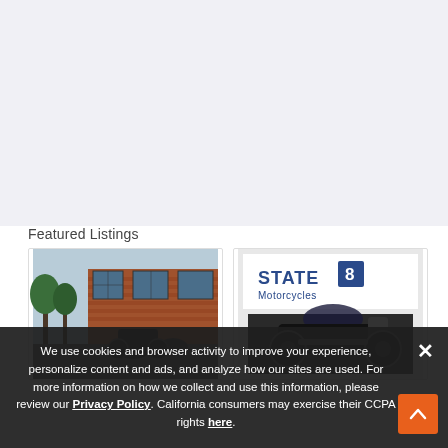[Figure (screenshot): Grey empty content area at top of webpage]
Featured Listings
[Figure (photo): Motorcycle dealership exterior with brick building and motorcycles in front]
[Figure (photo): State 8 Motorcycles logo with a dark motorcycle touring bike]
We use cookies and browser activity to improve your experience, personalize content and ads, and analyze how our sites are used. For more information on how we collect and use this information, please review our Privacy Policy. California consumers may exercise their CCPA rights here.